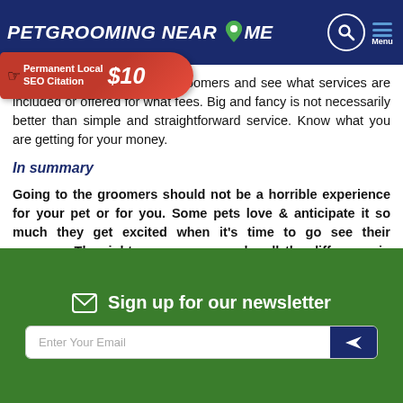PETGROOMING NEAR ME
[Figure (infographic): Red banner ad: Permanent Local SEO Citation $10 with hand pointer icon]
up ... compare groomers and see what services are included or offered for what fees. Big and fancy is not necessarily better than simple and straightforward service. Know what you are getting for your money.
In summary
Going to the groomers should not be a horrible experience for your pet or for you. Some pets love & anticipate it so much they get excited when it's time to go see their groomer. The right groomer can make all the difference in the experience your pet has. Since pet grooming is a service you will need on a continuing basis, finding the perfect fit for you and your pet is important.
Sign up for our newsletter
Enter Your Email